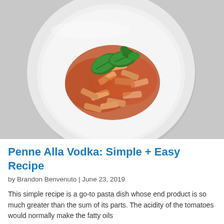[Figure (photo): A white plate with penne pasta in tomato vodka sauce topped with fresh basil leaves, photographed from above on a light gray background.]
Penne Alla Vodka: Simple + Easy Recipe
by Brandon Benvenuto | June 23, 2019
This simple recipe is a go-to pasta dish whose end product is so much greater than the sum of its parts. The acidity of the tomatoes would normally make the fatty oils